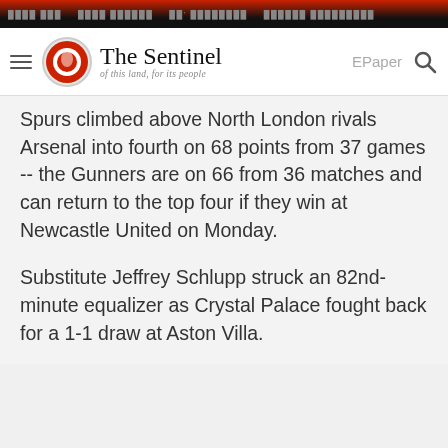The Sentinel — of this land, for its people
Spurs climbed above North London rivals Arsenal into fourth on 68 points from 37 games -- the Gunners are on 66 from 36 matches and can return to the top four if they win at Newcastle United on Monday.
Substitute Jeffrey Schlupp struck an 82nd-minute equalizer as Crystal Palace fought back for a 1-1 draw at Aston Villa.